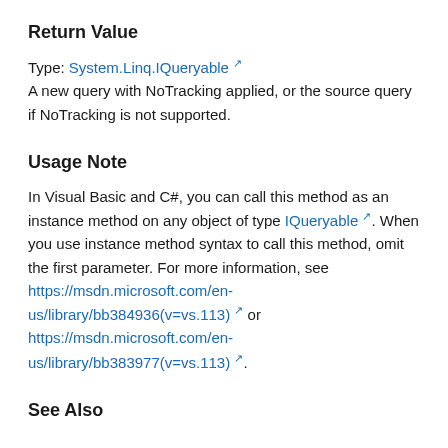Return Value
Type: System.Linq.IQueryable
A new query with NoTracking applied, or the source query if NoTracking is not supported.
Usage Note
In Visual Basic and C#, you can call this method as an instance method on any object of type IQueryable. When you use instance method syntax to call this method, omit the first parameter. For more information, see https://msdn.microsoft.com/en-us/library/bb384936(v=vs.113) or https://msdn.microsoft.com/en-us/library/bb383977(v=vs.113).
See Also